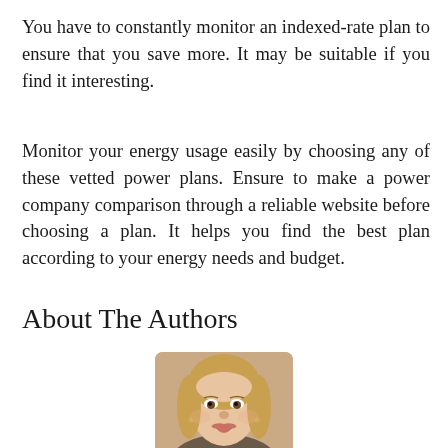You have to constantly monitor an indexed-rate plan to ensure that you save more. It may be suitable if you find it interesting.
Monitor your energy usage easily by choosing any of these vetted power plans. Ensure to make a power company comparison through a reliable website before choosing a plan. It helps you find the best plan according to your energy needs and budget.
About The Authors
[Figure (photo): Headshot photograph of a smiling middle-aged woman with blonde hair, wearing small earrings, against a light background.]